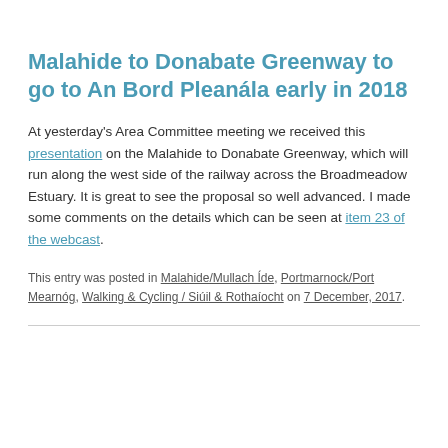Malahide to Donabate Greenway to go to An Bord Pleanála early in 2018
At yesterday's Area Committee meeting we received this presentation on the Malahide to Donabate Greenway, which will run along the west side of the railway across the Broadmeadow Estuary. It is great to see the proposal so well advanced. I made some comments on the details which can be seen at item 23 of the webcast.
This entry was posted in Malahide/Mullach Íde, Portmarnock/Port Mearnóg, Walking & Cycling / Siúil & Rothaíocht on 7 December, 2017.